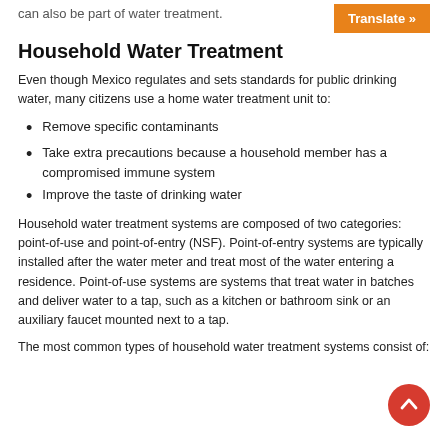can also be part of water treatment.
[Figure (other): Orange 'Translate »' button in top right corner]
Household Water Treatment
Even though Mexico regulates and sets standards for public drinking water, many citizens use a home water treatment unit to:
Remove specific contaminants
Take extra precautions because a household member has a compromised immune system
Improve the taste of drinking water
Household water treatment systems are composed of two categories: point-of-use and point-of-entry (NSF). Point-of-entry systems are typically installed after the water meter and treat most of the water entering a residence. Point-of-use systems are systems that treat water in batches and deliver water to a tap, such as a kitchen or bathroom sink or an auxiliary faucet mounted next to a tap.
The most common types of household water treatment systems consist of: